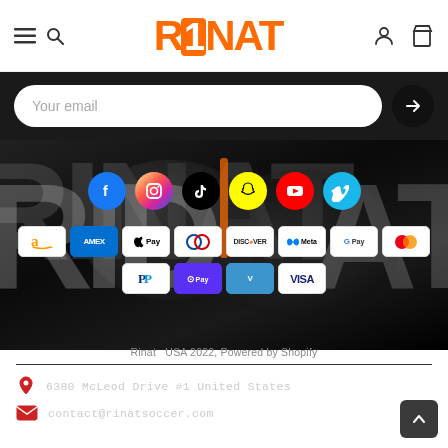RINAT logo navigation header with hamburger menu, search, account, and bag icons
Your email
[Figure (screenshot): RINAT branded soccer gloves in black and white with RINAT lettering, dark leather texture background]
Social media icons: Facebook, Instagram, TikTok, Snapchat, YouTube, Vimeo
[Figure (infographic): Payment method icons: Amazon, Amex, Apple Pay, Diners Club, Discover, Meta Pay, Google Pay, Mastercard, PayPal, Shop Pay, Venmo, Visa]
Rinat  USA 2022, Powered by Shopify
6380 McLeod Drive #1 United States
contact@rinatsoccer.com